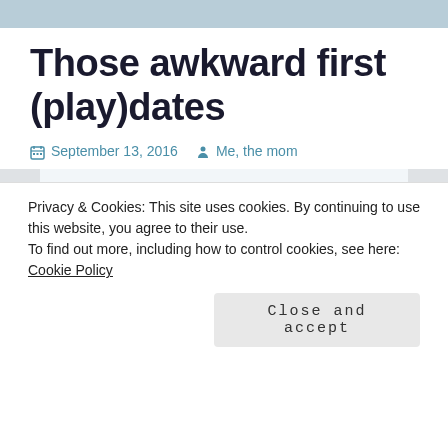Those awkward first (play)dates
September 13, 2016   Me, the mom
[Figure (photo): Two children seen from behind, sitting on a deck or porch railing, shot in bright outdoor light. One child has short light hair, the other longer light hair.]
Privacy & Cookies: This site uses cookies. By continuing to use this website, you agree to their use.
To find out more, including how to control cookies, see here: Cookie Policy
Close and accept